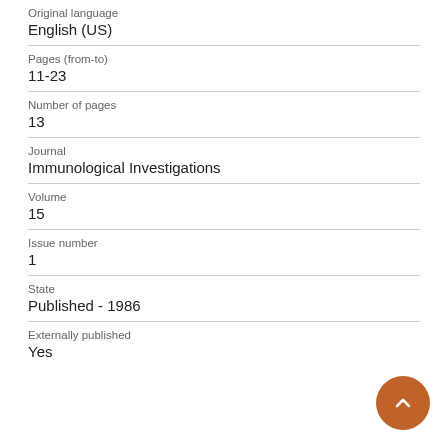Original language
English (US)
Pages (from-to)
11-23
Number of pages
13
Journal
Immunological Investigations
Volume
15
Issue number
1
State
Published - 1986
Externally published
Yes